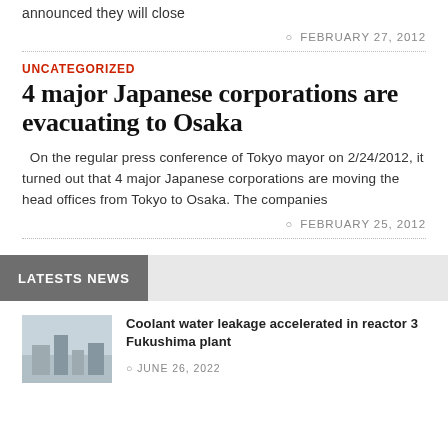announced they will close
FEBRUARY 27, 2012
UNCATEGORIZED
4 major Japanese corporations are evacuating to Osaka
On the regular press conference of Tokyo mayor on 2/24/2012, it turned out that 4 major Japanese corporations are moving the head offices from Tokyo to Osaka. The companies
FEBRUARY 25, 2012
LATESTS NEWS
Coolant water leakage accelerated in reactor 3 Fukushima plant
JUNE 26, 2022